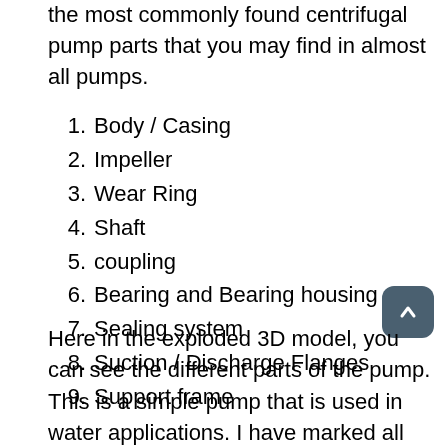the most commonly found centrifugal pump parts that you may find in almost all pumps.
1. Body / Casing
2. Impeller
3. Wear Ring
4. Shaft
5. coupling
6. Bearing and Bearing housing
7. Sealing system
8. Suction / Discharge Flanges
9. Support frame
Here in the exploded 3D model, you can see the different parts of the pump. This is a simple pump that is used in water applications. I have marked all